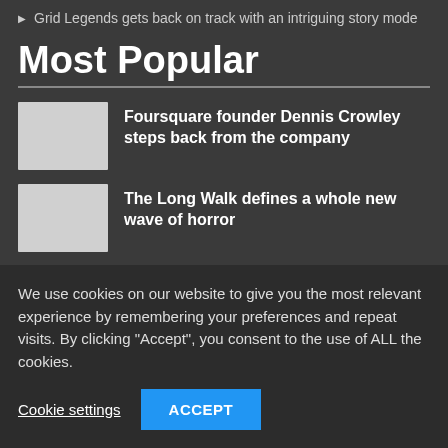Grid Legends gets back on track with an intriguing story mode
Most Popular
Foursquare founder Dennis Crowley steps back from the company
The Long Walk defines a whole new wave of horror
Twitter tests more attention grabbing...
We use cookies on our website to give you the most relevant experience by remembering your preferences and repeat visits. By clicking “Accept”, you consent to the use of ALL the cookies.
Cookie settings
ACCEPT